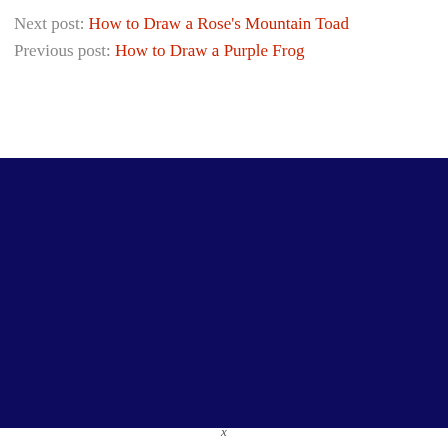Next post: How to Draw a Rose's Mountain Toad
Previous post: How to Draw a Purple Frog
[Figure (other): Large solid dark navy/dark blue rectangular block filling the middle section of the page]
x